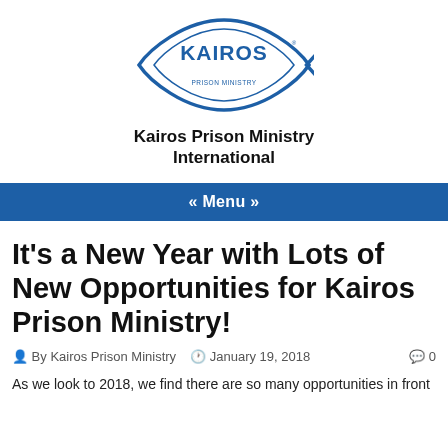[Figure (logo): Kairos Prison Ministry fish-shaped logo in blue outline with 'KAIROS' text and 'PRISON MINISTRY' text inside]
Kairos Prison Ministry International
« Menu »
It's a New Year with Lots of New Opportunities for Kairos Prison Ministry!
By Kairos Prison Ministry   January 19, 2018   0
As we look to 2018, we find there are so many opportunities in front